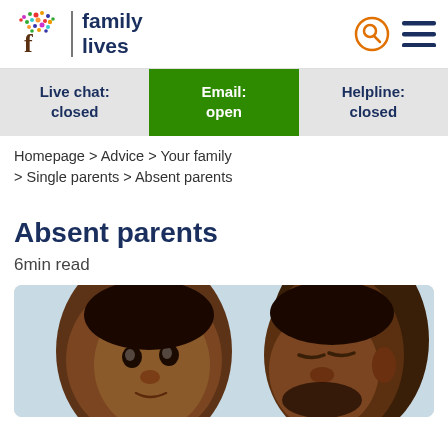[Figure (logo): Family Lives logo: colorful tree with letter f, vertical divider, bold text 'family lives' in dark navy]
[Figure (infographic): Three status buttons: 'Live chat: closed' (grey), 'Email: open' (green, active), 'Helpline: closed' (grey)]
Homepage > Advice > Your family > Single parents > Absent parents
Absent parents
6min read
[Figure (photo): Photo of a young Black child and an adult Black man (father figure), facing each other, against a light blue/grey background]